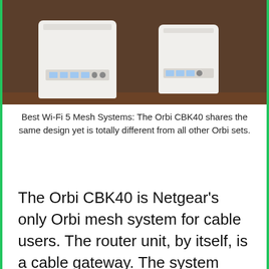[Figure (photo): Two white Netgear Orbi CBK40 router units photographed from behind, showing ports and connections, placed on a dark wooden surface.]
Best Wi-Fi 5 Mesh Systems: The Orbi CBK40 shares the same design yet is totally different from all other Orbi sets.
The Orbi CBK40 is Netgear's only Orbi mesh system for cable users. The router unit, by itself, is a cable gateway. The system works very well for cable customers, as long as they don't also use cable Internet as their landline phone